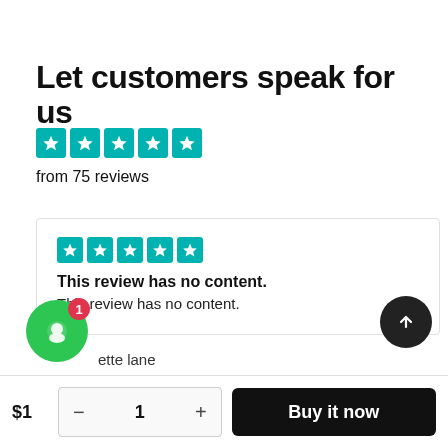Let customers speak for us
[Figure (other): Five teal star rating icons]
from 75 reviews
[Figure (other): Five teal star rating icons inside review card]
This review has no content.
This review has no content.
ette lane
$1
- 1 +
Buy it now